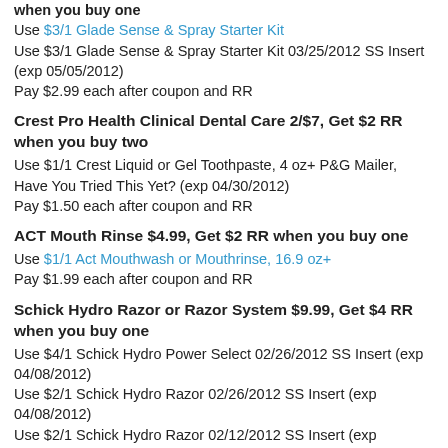when you buy one
Use $3/1 Glade Sense & Spray Starter Kit
Use $3/1 Glade Sense & Spray Starter Kit 03/25/2012 SS Insert (exp 05/05/2012)
Pay $2.99 each after coupon and RR
Crest Pro Health Clinical Dental Care 2/$7, Get $2 RR when you buy two
Use $1/1 Crest Liquid or Gel Toothpaste, 4 oz+ P&G Mailer, Have You Tried This Yet? (exp 04/30/2012)
Pay $1.50 each after coupon and RR
ACT Mouth Rinse $4.99, Get $2 RR when you buy one
Use $1/1 Act Mouthwash or Mouthrinse, 16.9 oz+
Pay $1.99 each after coupon and RR
Schick Hydro Razor or Razor System $9.99, Get $4 RR when you buy one
Use $4/1 Schick Hydro Power Select 02/26/2012 SS Insert (exp 04/08/2012)
Use $2/1 Schick Hydro Razor 02/26/2012 SS Insert (exp 04/08/2012)
Use $2/1 Schick Hydro Razor 02/12/2012 SS Insert (exp...